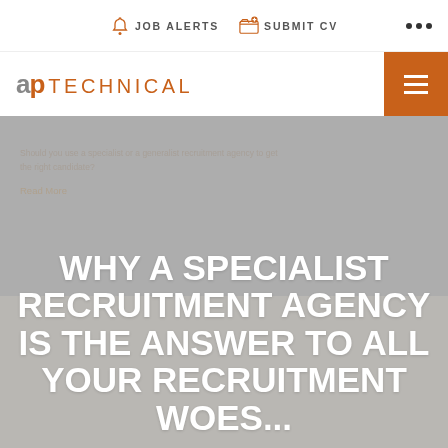JOB ALERTS   SUBMIT CV
[Figure (logo): ap TECHNICAL logo with orange accent color and hamburger menu button]
WHY A SPECIALIST RECRUITMENT AGENCY IS THE ANSWER TO ALL YOUR RECRUITMENT WOES...